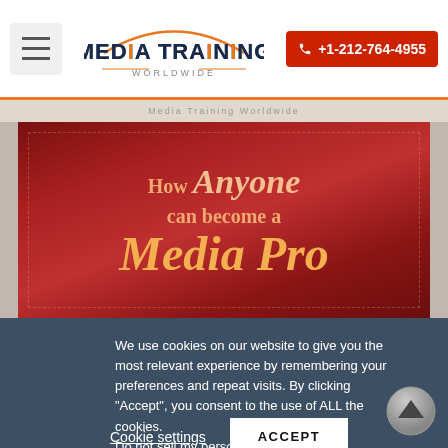[Figure (logo): Media Training Worldwide logo with hamburger menu and phone number button]
[Figure (illustration): Book cover image with text 'How Anyone can become a Media Pro' on dark red background]
We use cookies on our website to give you the most relevant experience by remembering your preferences and repeat visits. By clicking “Accept”, you consent to the use of ALL the cookies. Do not sell my personal information.
Cookie settings  ACCEPT